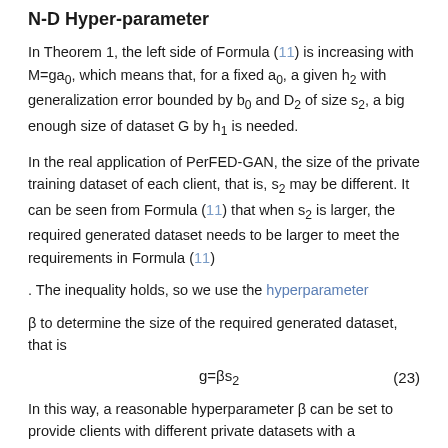N-D Hyper-parameter
In Theorem 1, the left side of Formula (11) is increasing with M=ga0, which means that, for a fixed a0, a given h2 with generalization error bounded by b0 and D2 of size s2, a big enough size of dataset G by h1 is needed.
In the real application of PerFED-GAN, the size of the private training dataset of each client, that is, s2 may be different. It can be seen from Formula (11) that when s2 is larger, the required generated dataset needs to be larger to meet the requirements in Formula (11)
. The inequality holds, so we use the hyperparameter
β to determine the size of the required generated dataset, that is
In this way, a reasonable hyperparameter β can be set to provide clients with different private datasets with a